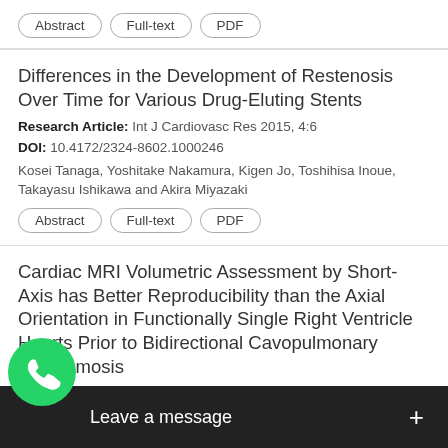Buttons: Abstract, Full-text, PDF (top partial entry)
Differences in the Development of Restenosis Over Time for Various Drug-Eluting Stents
Research Article: Int J Cardiovasc Res 2015, 4:6
DOI: 10.4172/2324-8602.1000246
Kosei Tanaga, Yoshitake Nakamura, Kigen Jo, Toshihisa Inoue, Takayasu Ishikawa and Akira Miyazaki
Buttons: Abstract, Full-text, PDF
Cardiac MRI Volumetric Assessment by Short-Axis has Better Reproducibility than the Axial Orientation in Functionally Single Right Ventricle Hearts Prior to Bidirectional Cavopulmonary Anastomosis
Research Article: Int J Cardiovasc Res 2015, 4:6
DOI: 10.4172/2324-8602.1000247
...e L Noga, Kimberley A Myer... Tham
[Figure (other): WhatsApp 'Leave a message' chat widget overlay at bottom of screen, with green WhatsApp phone icon and black message bar with plus button]